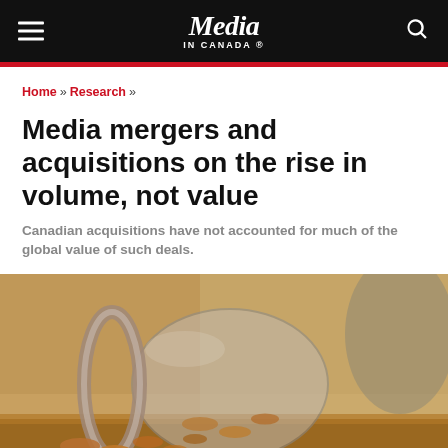Media In Canada
Home » Research »
Media mergers and acquisitions on the rise in volume, not value
Canadian acquisitions have not accounted for much of the global value of such deals.
[Figure (photo): Close-up photo of a glass jar tipped on its side with coins spilling out onto a surface, warm brown tones]